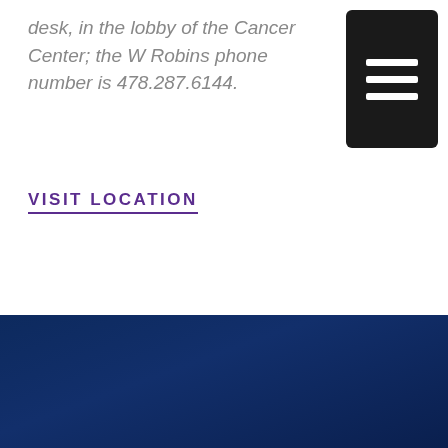desk, in the lobby of the Cancer Center; the W Robins phone number is 478.287.6144.
VISIT LOCATION
Phone: (478) 743-7068